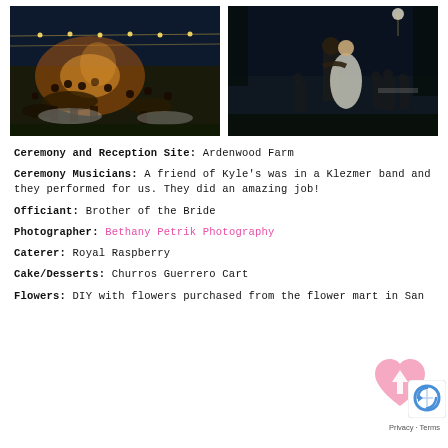[Figure (photo): Outdoor nighttime wedding reception with string lights, guests seated at tables]
[Figure (photo): Couple dancing outdoors at night, bride in white dress]
Ceremony and Reception Site: Ardenwood Farm
Ceremony Musicians: A friend of Kyle's was in a Klezmer band and they performed for us. They did an amazing job!
Officiant: Brother of the Bride
Photographer: Bethany Petrik Photography
Caterer: Royal Raspberry
Cake/Desserts: Churros Guerrero Cart
Flowers: DIY with flowers purchased from the flower mart in San